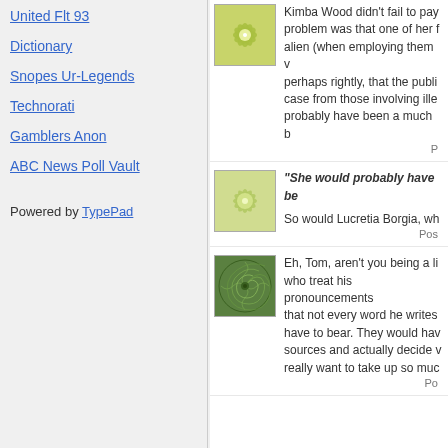United Flt 93
Dictionary
Snopes Ur-Legends
Technorati
Gamblers Anon
ABC News Poll Vault
Powered by TypePad
[Figure (illustration): Green flower/snowflake pattern avatar icon]
Kimba Wood didn't fail to pay... problem was that one of her f... alien (when employing them v... perhaps rightly, that the publi... case from those involving ille... probably have been a much b...
P...
[Figure (illustration): Green flower/snowflake pattern avatar icon (lighter)]
"She would probably have be...
So would Lucretia Borgia, wh...
Pos...
[Figure (illustration): Dark green spiral/swirl pattern avatar icon]
Eh, Tom, aren't you being a li... who treat his pronouncements... that not every word he writes... have to bear. They would hav... sources and actually decide v... really want to take up so muc...
Po...